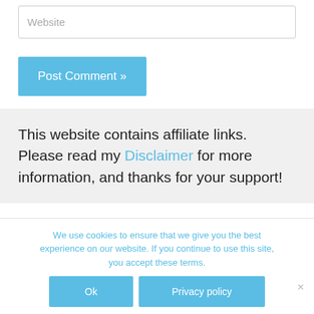Website
Post Comment »
This website contains affiliate links. Please read my Disclaimer for more information, and thanks for your support!
We use cookies to ensure that we give you the best experience on our website. If you continue to use this site, you accept these terms.
Ok
Privacy policy
×